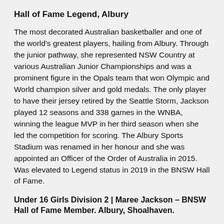Hall of Fame Legend, Albury
The most decorated Australian basketballer and one of the world's greatest players, hailing from Albury. Through the junior pathway, she represented NSW Country at various Australian Junior Championships and was a prominent figure in the Opals team that won Olympic and World champion silver and gold medals. The only player to have their jersey retired by the Seattle Storm, Jackson played 12 seasons and 338 games in the WNBA, winning the league MVP in her third season when she led the competition for scoring. The Albury Sports Stadium was renamed in her honour and she was appointed an Officer of the Order of Australia in 2015. Was elevated to Legend status in 2019 in the BNSW Hall of Fame.
Under 16 Girls Division 2 | Maree Jackson – BNSW Hall of Fame Member. Albury, Shoalhaven.